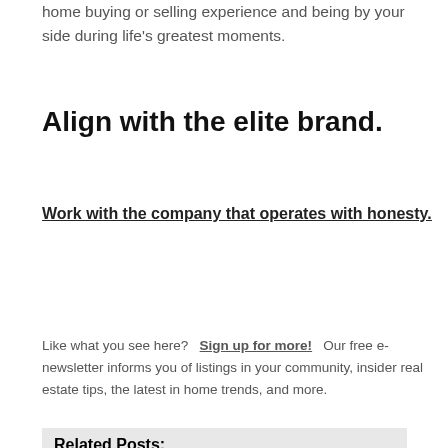home buying or selling experience and being by your side during life's greatest moments.
Align with the elite brand.
Work with the company that operates with honesty.
Like what you see here?  Sign up for more!  Our free e-newsletter informs you of listings in your community, insider real estate tips, the latest in home trends, and more.
Related Posts: